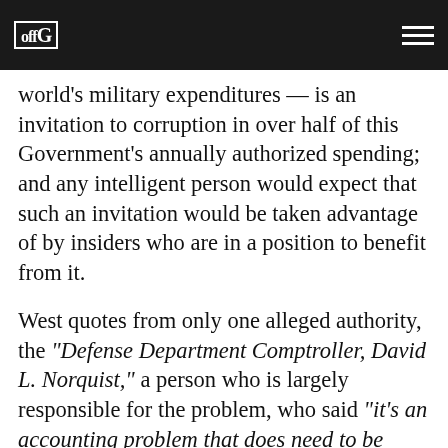offG [logo]
world's military expenditures — is an invitation to corruption in over half of this Government's annually authorized spending; and any intelligent person would expect that such an invitation would be taken advantage of by insiders who are in a position to benefit from it.
West quotes from only one alleged authority, the "Defense Department Comptroller, David L. Norquist," a person who is largely responsible for the problem, who said "it's an accounting problem that does need to be solved because it can help hide